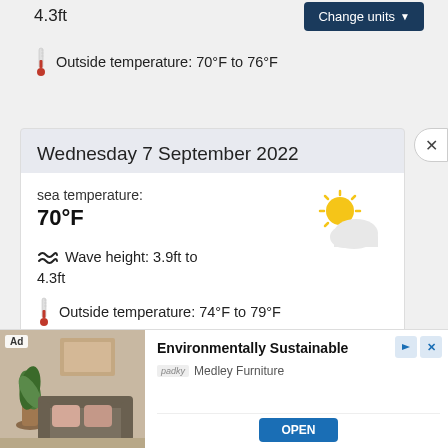4.3ft
Change units ▼
Outside temperature: 70°F to 76°F
Wednesday 7 September 2022
sea temperature:
70°F
[Figure (illustration): Partly cloudy weather icon with sun and cloud]
≋ Wave height: 3.9ft to 4.3ft
Outside temperature: 74°F to 79°F
[Figure (infographic): Advertisement banner: Environmentally Sustainable - Medley Furniture with OPEN button and furniture room image]